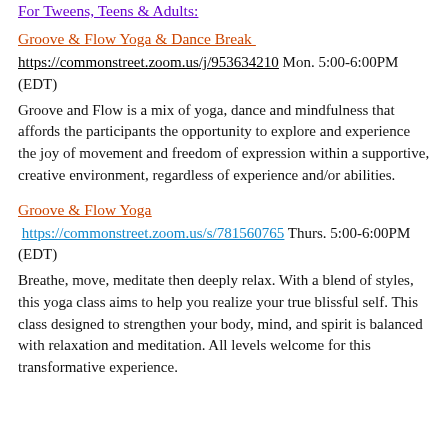For Tweens, Teens & Adults:
Groove & Flow Yoga & Dance Break
https://commonstreet.zoom.us/j/953634210 Mon. 5:00-6:00PM (EDT)
Groove and Flow is a mix of yoga, dance and mindfulness that affords the participants the opportunity to explore and experience the joy of movement and freedom of expression within a supportive, creative environment, regardless of experience and/or abilities.
Groove & Flow Yoga
https://commonstreet.zoom.us/s/781560765 Thurs. 5:00-6:00PM (EDT)
Breathe, move, meditate then deeply relax. With a blend of styles, this yoga class aims to help you realize your true blissful self. This class designed to strengthen your body, mind, and spirit is balanced with relaxation and meditation. All levels welcome for this transformative experience.